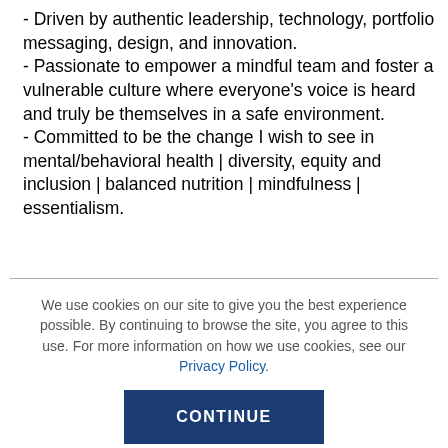- Driven by authentic leadership, technology, portfolio messaging, design, and innovation.
- Passionate to empower a mindful team and foster a vulnerable culture where everyone's voice is heard and truly be themselves in a safe environment.
- Committed to be the change I wish to see in mental/behavioral health | diversity, equity and inclusion | balanced nutrition | mindfulness | essentialism.
We use cookies on our site to give you the best experience possible. By continuing to browse the site, you agree to this use. For more information on how we use cookies, see our Privacy Policy.